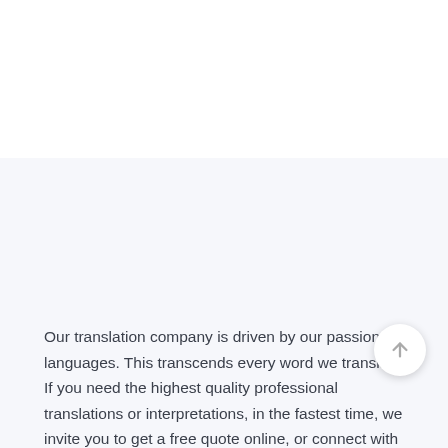Our translation company is driven by our passion for languages. This transcends every word we translate. If you need the highest quality professional translations or interpretations, in the fastest time, we invite you to get a free quote online, or connect with us 24/7. We're always available. And we're happy to help!